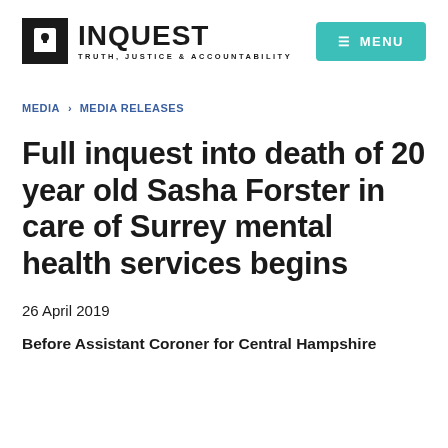INQUEST TRUTH, JUSTICE & ACCOUNTABILITY
MENU
MEDIA > MEDIA RELEASES
Full inquest into death of 20 year old Sasha Forster in care of Surrey mental health services begins
26 April 2019
Before Assistant Coroner for Central Hampshire